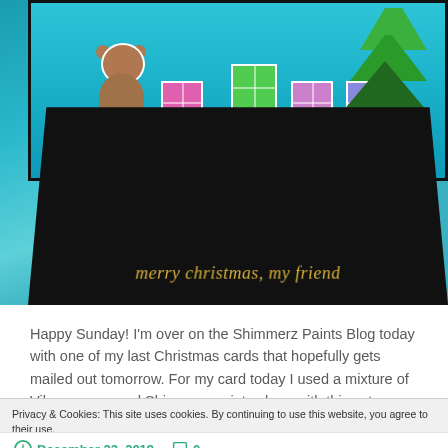[Figure (photo): A handmade Christmas card featuring a brown bear holding a gift, colorful present packages, a Christmas tree, all on a teal/blue watercolor background. The black card base has 'merry christmas, my friend' written in gold script.]
Happy Sunday! I'm over on the Shimmerz Paints Blog today with one of my last Christmas cards that hopefully gets mailed out tomorrow. For my card today I used a mixture of Vibez sprays and Shimmerz paints along with this cute Christmas Bear from Reverse Confetti. I started out by creating the
Privacy & Cookies: This site uses cookies. By continuing to use this website, you agree to their use.
To find out more, including how to control cookies, see here: Cookie Policy
Close and accept
December 22, 2019   0